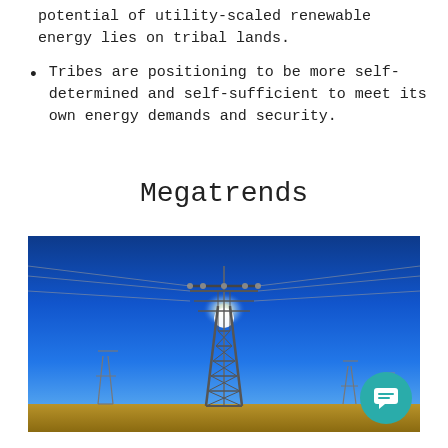potential of utility-scaled renewable energy lies on tribal lands.
Tribes are positioning to be more self-determined and self-sufficient to meet its own energy demands and security.
Megatrends
[Figure (photo): Photograph of a large electrical transmission tower (power line pylon) against a bright blue sky with the sun shining behind it. Additional pylons are visible in the background across an open field.]